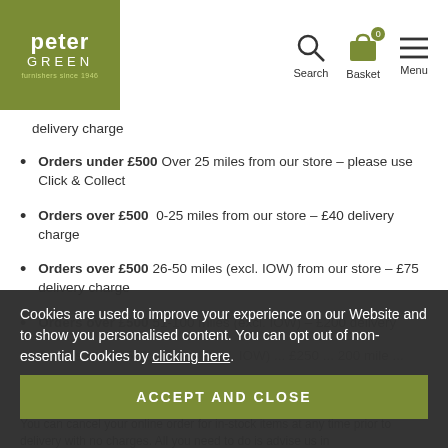Peter Green - furnishers since 1946 | Search | Basket | Menu
delivery charge
Orders under £500 Over 25 miles from our store – please use Click & Collect
Orders over £500  0-25 miles from our store – £40 delivery charge
Orders over £500 26-50 miles (excl. IOW) from our store – £75 delivery charge
Orders over £500 51-100 miles (excl. IOW) – £200 delivery
Orders over £500 ... miles (excl. IOW) ... £250 ... 200 mile ...
For all IOW orders a £250 delivery charge will apply
Cookies are used to improve your experience on our Website and to show you personalised content. You can opt out of non-essential Cookies by clicking here.
ACCEPT AND CLOSE
You can cancel your online order for in-stock items at any time prior to delivery with no charges. All you need to do is advise us in